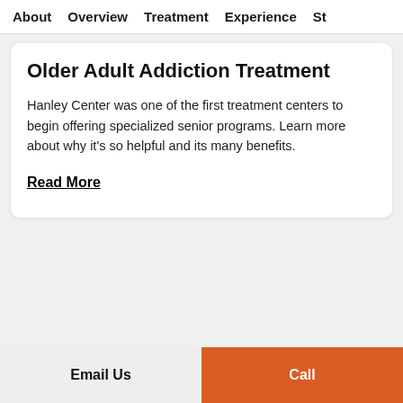About   Overview   Treatment   Experience   St
Older Adult Addiction Treatment
Hanley Center was one of the first treatment centers to begin offering specialized senior programs. Learn more about why it's so helpful and its many benefits.
Read More
Email Us
Call